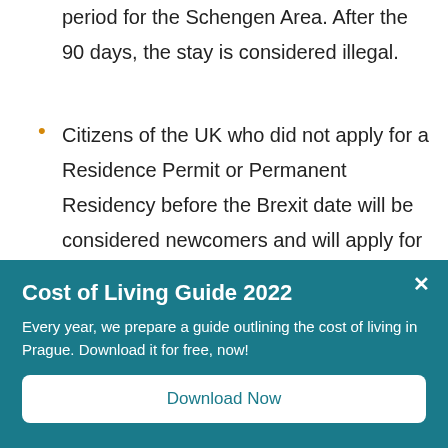period for the Schengen Area. After the 90 days, the stay is considered illegal.
Citizens of the UK who did not apply for a Residence Permit or Permanent Residency before the Brexit date will be considered newcomers and will apply for a Non-EU permit via the Czech Embassy in London
Cost of Living Guide 2022
Every year, we prepare a guide outlining the cost of living in Prague. Download it for free, now!
Download Now